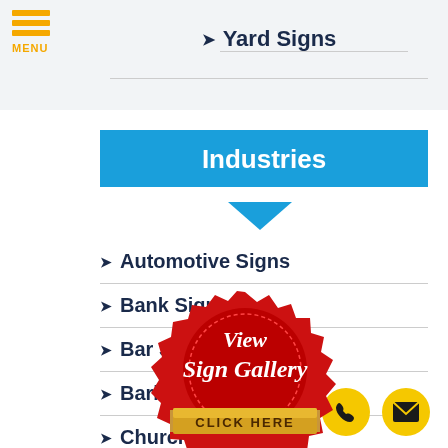MENU
→ Yard Signs
Industries
→ Automotive Signs
→ Bank Signs
→ Bar Signs
→ Barber Signs
→ Church Signs
[Figure (illustration): Red seal badge with 'View Sign Gallery' text in white script and gold 'CLICK HERE' banner ribbon at bottom]